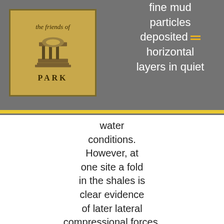[Figure (logo): The Friends of Roundhay Park logo with an illustration of a park building/monument]
fine mud particles deposited horizontal layers in quiet water conditions. However, at one site a fold in the shales is clear evidence of later lateral compressional forces.
The shale beds in some sites contain both fresh water and marine fossils so there were also periods of sea incursion. At higher levels shales give way to sandstones and at the highest level in Scout's Quarry we find coarse millstone grit